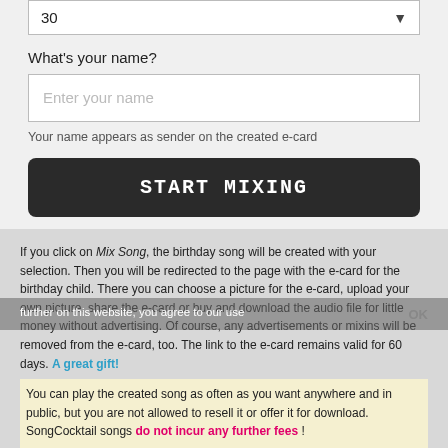30
What's your name?
Enter your name
Your name appears as sender on the created e-card
START MIXING
If you click on Mix Song, the birthday song will be created with your selection. Then you will be redirected to the page with the e-card for the birthday child. There you can choose a picture for the e-card, upload your own picture, share the e-card or buy and download the audio file for little money without advertising. Of course, any advertisements or mixins will be removed from the e-card, too. The link to the e-card remains valid for 60 days. A great gift!
You can play the created song as often as you want anywhere and in public, but you are not allowed to resell it or offer it for download. SongCocktail songs do not incur any further fees !